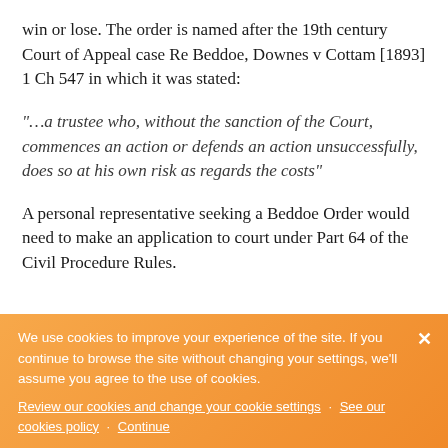win or lose. The order is named after the 19th century Court of Appeal case Re Beddoe, Downes v Cottam [1893] 1 Ch 547 in which it was stated:
"…a trustee who, without the sanction of the Court, commences an action or defends an action unsuccessfully, does so at his own risk as regards the costs"
A personal representative seeking a Beddoe Order would need to make an application to court under Part 64 of the Civil Procedure Rules.
We use cookies to improve your experience of the site. If you continue to browse the site without changing your settings, we'll assume you agree to the use of cookies.
Review our cookies and change your cookie settings · See our cookies policy · Continue